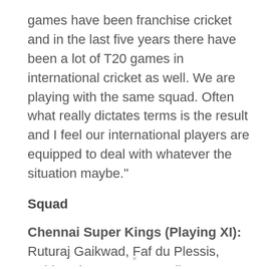games have been franchise cricket and in the last five years there have been a lot of T20 games in international cricket as well. We are playing with the same squad. Often what really dictates terms is the result and I feel our international players are equipped to deal with whatever the situation maybe."
Squad
Chennai Super Kings (Playing XI): Ruturaj Gaikwad, Faf du Plessis, Robin Uthappa, Moeen Ali...